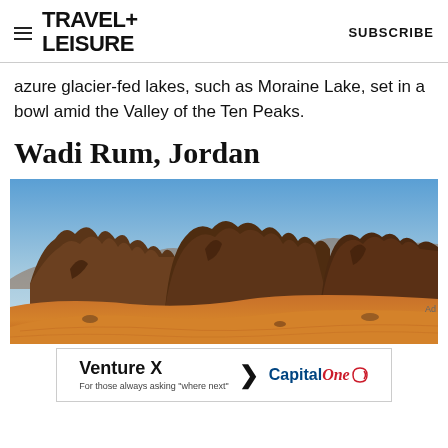TRAVEL+ LEISURE   SUBSCRIBE
azure glacier-fed lakes, such as Moraine Lake, set in a bowl amid the Valley of the Ten Peaks.
Wadi Rum, Jordan
[Figure (photo): Wadi Rum desert landscape in Jordan showing red-orange sand dunes in the foreground and large rocky sandstone mountains/formations in the background under a clear blue sky.]
[Figure (other): Advertisement banner: Venture X > Capital One — For those always asking 'where next']